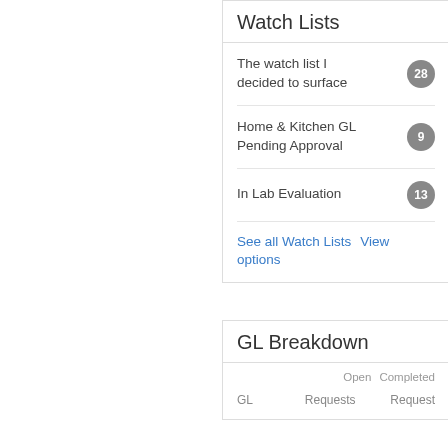Watch Lists
The watch list I decided to surface
Home & Kitchen GL Pending Approval
In Lab Evaluation
See all Watch Lists   View options
GL Breakdown
| GL | Open Requests | Completed Requests |
| --- | --- | --- |